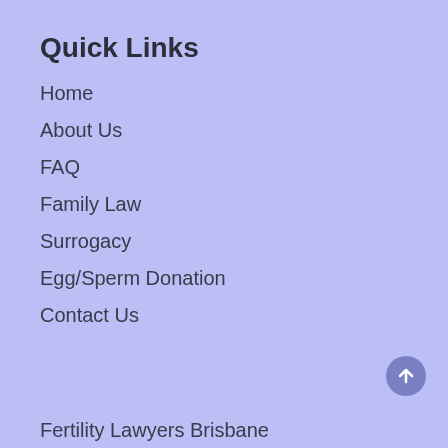Quick Links
Home
About Us
FAQ
Family Law
Surrogacy
Egg/Sperm Donation
Contact Us
Fertility Lawyers Brisbane
Fertility Lawyers Melbourne
Fertility Lawyers Sydney